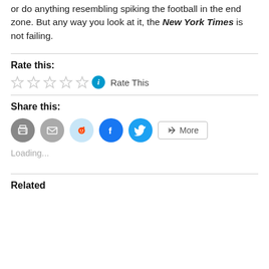or do anything resembling spiking the football in the end zone. But any way you look at it, the New York Times is not failing.
Rate this:
[Figure (other): Five empty star rating icons followed by a blue info icon and the text 'Rate This']
Share this:
[Figure (other): Row of social share buttons: print (gray circle), email (gray circle), Reddit (light blue circle), Facebook (blue circle), Twitter (cyan circle), and a More button]
Loading...
Related